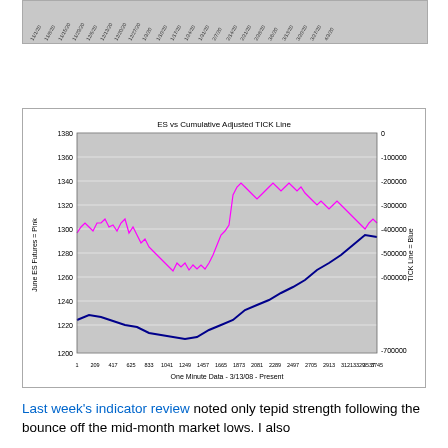[Figure (continuous-plot): Top portion of a chart showing date-based x-axis labels (rotated), partially visible at top of page]
[Figure (continuous-plot): ES vs Cumulative Adjusted TICK Line chart. Two lines plotted: June ES Futures (pink/magenta) on left y-axis ranging 1200-1380, and TICK Line (blue/navy) on right y-axis ranging 0 to -700000. X-axis shows one-minute data from 3/13/08 to present, tick labels from 1 to 4577. Pink line starts ~1290, rises to ~1320, dips to ~1260, recovers to ~1360, then declines to ~1320. Blue line starts ~1228, dips to ~1215, rises steadily to ~1325, then falls slightly to ~1320.]
Last week's indicator review noted only tepid strength following the bounce off the mid-month market lows. I also